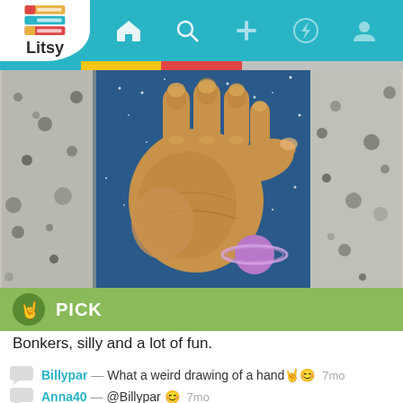[Figure (screenshot): Litsy app screenshot showing a book cover with a large illustrated hand against a space background with a planet, granite surfaces on sides, a green PICK bar, review text, and user comments.]
PICK
Bonkers, silly and a lot of fun.
Billypar — What a weird drawing of a hand🤘😊  7mo
Anna40 — @Billypar 😊  7mo